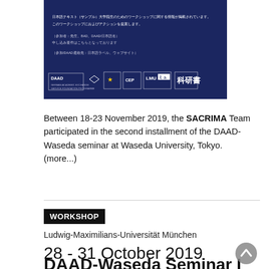[Figure (screenshot): Dark navy blue banner/poster for DAAD-Waseda seminar with Japanese text, logos of DAAD, EU, LMU and other institutions at the bottom]
Between 18-23 November 2019, the SACRIMA Team participated in the second installment of the DAAD-Waseda seminar at Waseda University, Tokyo. (more...)
WORKSHOP
Ludwig-Maximilians-Universität München
28 - 31 October 2019
DAAD-Waseda Seminar I